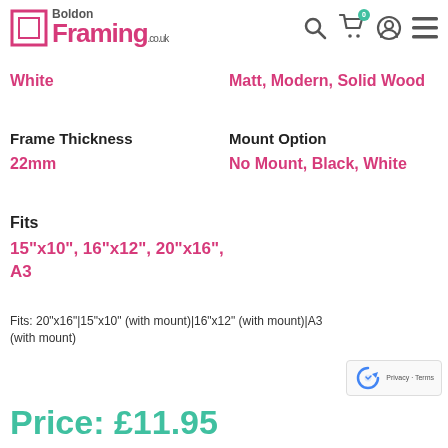Boldon Framing .co.uk
White
Matt, Modern, Solid Wood
Frame Thickness
Mount Option
22mm
No Mount, Black, White
Fits
15"x10", 16"x12", 20"x16", A3
Fits: 20"x16"|15"x10" (with mount)|16"x12" (with mount)|A3 (with mount)
Price: £11.95